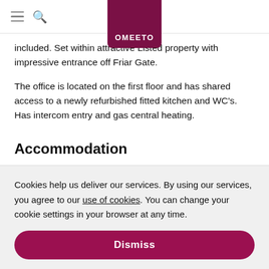OMEETO
included. Set within attractive Listed property with impressive entrance off Friar Gate.
The office is located on the first floor and has shared access to a newly refurbished fitted kitchen and WC's. Has intercom entry and gas central heating.
Accommodation
Cookies help us deliver our services. By using our services, you agree to our use of cookies. You can change your cookie settings in your browser at any time.
Dismiss